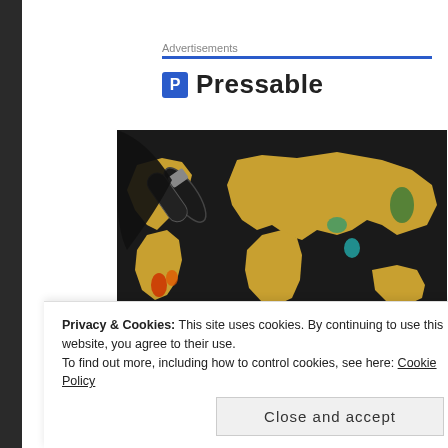Advertisements
[Figure (logo): Pressable logo with blue square P icon and bold text 'Pressable']
[Figure (photo): A scratch-off world map poster, dark background with gold continents, partially scratched to reveal colorful countries, with a rolled tube beside it]
Privacy & Cookies: This site uses cookies. By continuing to use this website, you agree to their use.
To find out more, including how to control cookies, see here: Cookie Policy
Close and accept